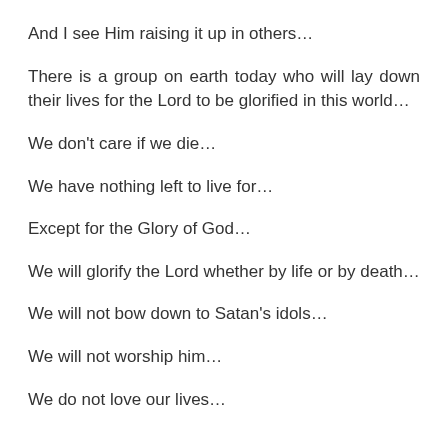And I see Him raising it up in others…
There is a group on earth today who will lay down their lives for the Lord to be glorified in this world…
We don't care if we die…
We have nothing left to live for…
Except for the Glory of God…
We will glorify the Lord whether by life or by death…
We will not bow down to Satan's idols…
We will not worship him…
We do not love our lives…